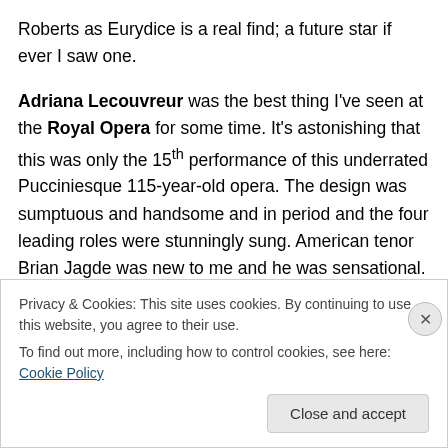Roberts as Eurydice is a real find; a future star if ever I saw one.

Adriana Lecouvreur was the best thing I've seen at the Royal Opera for some time. It's astonishing that this was only the 15th performance of this underrated Pucciniesque 115-year-old opera. The design was sumptuous and handsome and in period and the four leading roles were stunningly sung. American tenor Brian Jagde was new to me and he was sensational. Angela Georgiou was excellent, but I do wish she didn't milk her bows so much!
Privacy & Cookies: This site uses cookies. By continuing to use this website, you agree to their use.
To find out more, including how to control cookies, see here: Cookie Policy